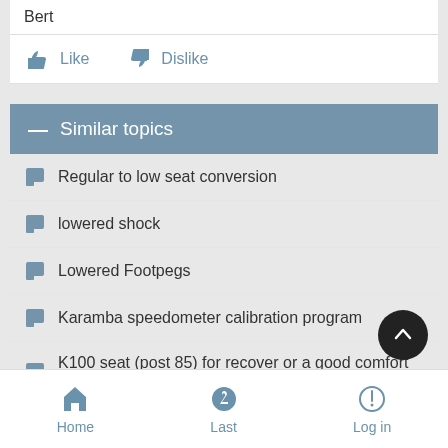Bert
Like   Dislike
— Similar topics
Regular to low seat conversion
lowered shock
Lowered Footpegs
Karamba speedometer calibration program
K100 seat (post 85) for recover or a good comfort seat
Home   Last   Log in